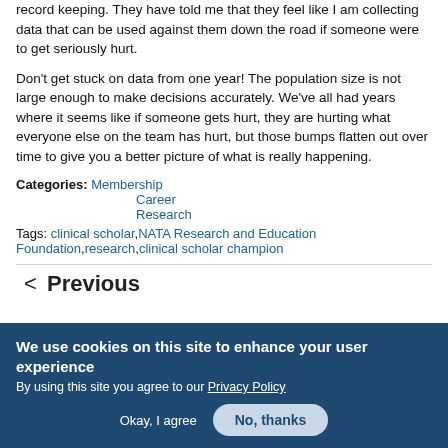record keeping. They have told me that they feel like I am collecting data that can be used against them down the road if someone were to get seriously hurt.
Don't get stuck on data from one year! The population size is not large enough to make decisions accurately. We've all had years where it seems like if someone gets hurt, they are hurting what everyone else on the team has hurt, but those bumps flatten out over time to give you a better picture of what is really happening.
Categories: Membership
Career
Research
Tags: clinical scholar, NATA Research and Education Foundation, research, clinical scholar champion
< Previous
We use cookies on this site to enhance your user experience
By using this site you agree to our Privacy Policy
Okay, I agree   No, thanks